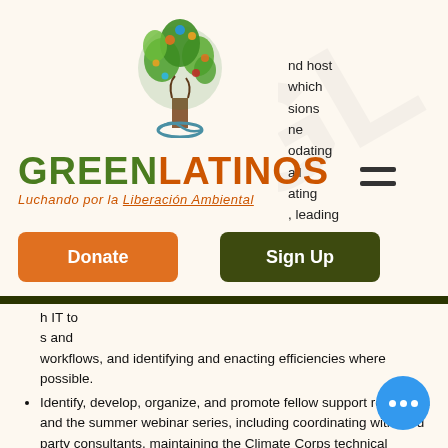[Figure (logo): GreenLatinos decorative tree logo with colorful leaves and animals]
nd host
which
sions
e
odating
all
ating
, leading
GREENLATINOS
Luchando por la Liberación Ambiental
Donate
Sign Up
h IT to
s and
workflows, and identifying and enacting efficiencies where possible.
Identify, develop, organize, and promote fellow support resources and the summer webinar series, including coordinating with third party consultants, maintaining the Climate Corps technical resource library, and overseeing the summer calendar of fellowship events.
Perform analyses on Climate Corps program data including hiring a team of reviewers to facilitate the quality assurance process of fellows' project recommendations.
Track and evaluate fellowship program results, such as project implementation, by